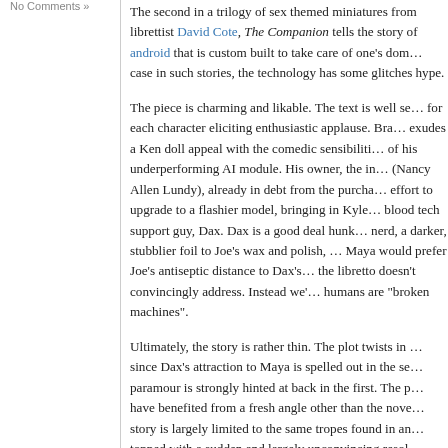No Comments »
The second in a trilogy of sex themed miniatures from librettist David Cote, The Companion tells the story of an android that is custom built to take care of one's dom... case in such stories, the technology has some glitches... hype.
The piece is charming and likable. The text is well se... for each character eliciting enthusiastic applause. Bra... exudes a Ken doll appeal with the comedic sensibiliti... of his underperforming AI module. His owner, the in... (Nancy Allen Lundy), already in debt from the purcha... effort to upgrade to a flashier model, bringing in Kyle... blood tech support guy, Dax. Dax is a good deal hunk... nerd, a darker, stubblier foil to Joe's wax and polish,... Maya would prefer Joe's antiseptic distance to Dax's... the libretto doesn't convincingly address. Instead we'... humans are "broken machines".
Ultimately, the story is rather thin. The plot twists in... since Dax's attraction to Maya is spelled out in the se... paramour is strongly hinted at back in the first. The p... have benefited from a fresh angle other than the nove... story is largely limited to the same tropes found in an... topped with a sudden and largely unconvincing resol... bright libretto, Paterson's lovely score, and the strong... been better served by a few more revisions of the sto...